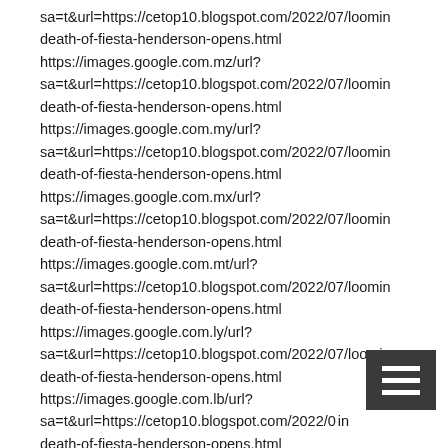sa=t&url=https://cetop10.blogspot.com/2022/07/loomin death-of-fiesta-henderson-opens.html https://images.google.com.mz/url? sa=t&url=https://cetop10.blogspot.com/2022/07/loomin death-of-fiesta-henderson-opens.html https://images.google.com.my/url? sa=t&url=https://cetop10.blogspot.com/2022/07/loomin death-of-fiesta-henderson-opens.html https://images.google.com.mx/url? sa=t&url=https://cetop10.blogspot.com/2022/07/loomin death-of-fiesta-henderson-opens.html https://images.google.com.mt/url? sa=t&url=https://cetop10.blogspot.com/2022/07/loomin death-of-fiesta-henderson-opens.html https://images.google.com.ly/url? sa=t&url=https://cetop10.blogspot.com/2022/07/loomin death-of-fiesta-henderson-opens.html https://images.google.com.lb/url? sa=t&url=https://cetop10.blogspot.com/2022/0 in death-of-fiesta-henderson-opens.html https://images.google.com.lv/url?
[Figure (other): Menu icon - dark grey rectangle with three horizontal white lines (hamburger menu button)]